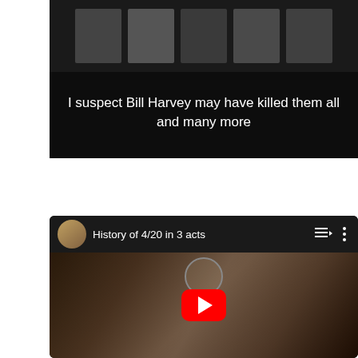[Figure (screenshot): Dark background image with text overlay reading 'I suspect Bill Harvey may have killed them all and many more' in chalk-style white handwritten font, with photos of people visible at the top]
[Figure (screenshot): YouTube video embed titled 'History of 4/20 in 3 acts' with a group photo thumbnail showing multiple people posing together, a red YouTube play button in the center, a user avatar in the top left, and playlist/menu icons in the top right]